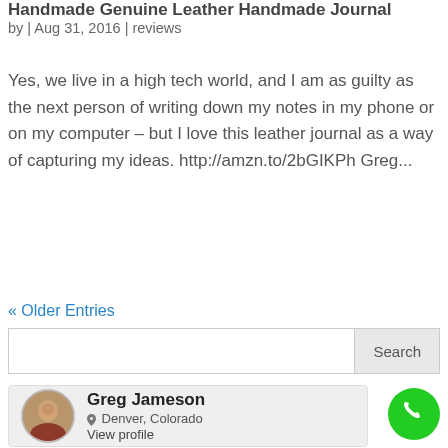Handmade Genuine Leather Handmade Journal
by | Aug 31, 2016 | reviews
Yes, we live in a high tech world, and I am as guilty as the next person of writing down my notes in my phone or on my computer – but I love this leather journal as a way of capturing my ideas. http://amzn.to/2bGIKPh Greg...
« Older Entries
Search
[Figure (infographic): Profile card showing Greg Jameson, Denver, Colorado with View profile link and a circular avatar photo]
[Figure (other): Green circular phone/call button icon]